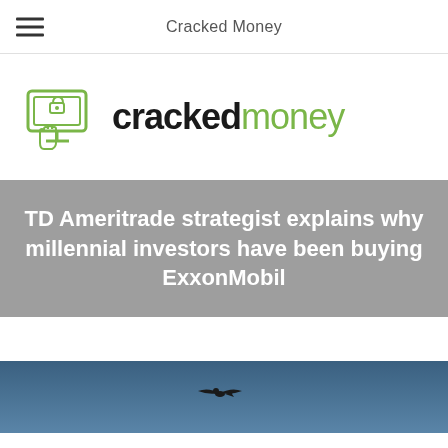Cracked Money
[Figure (logo): Cracked Money logo with green icon showing a locked computer/ATM with hand, and text 'crackedmoney' in black and green]
TD Ameritrade strategist explains why millennial investors have been buying ExxonMobil
[Figure (photo): Blue sky with a bird flying, partial view at bottom of page]